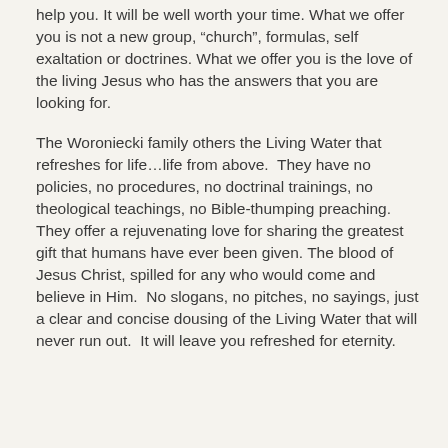help you. It will be well worth your time. What we offer you is not a new group, “church”, formulas, self exaltation or doctrines. What we offer you is the love of the living Jesus who has the answers that you are looking for.
The Woroniecki family others the Living Water that refreshes for life…life from above. They have no policies, no procedures, no doctrinal trainings, no theological teachings, no Bible-thumping preaching. They offer a rejuvenating love for sharing the greatest gift that humans have ever been given. The blood of Jesus Christ, spilled for any who would come and believe in Him. No slogans, no pitches, no sayings, just a clear and concise dousing of the Living Water that will never run out. It will leave you refreshed for eternity.